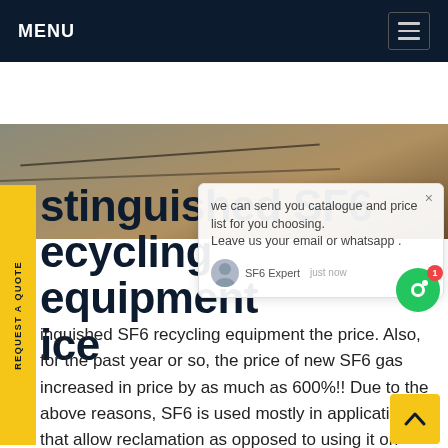MENU
[Figure (photo): Aerial or floor view of industrial surface with lines/cracks, brown and grey tones]
Distinguished SF6 recycling equipment price
Distinguished SF6 recycling equipment the price. Also, for the past year or so, the price of new SF6 gas increased in price by as much as 600%!! Due to the above reasons, SF6 is used mostly in applications that allow reclamation as opposed to using it on equipment that requires release of the gas, only be re-filled with virgin SF6.Get price